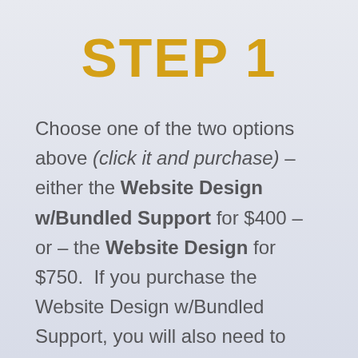STEP 1
Choose one of the two options above (click it and purchase) – either the Website Design w/Bundled Support for $400 – or – the Website Design for $750. If you purchase the Website Design w/Bundled Support, you will also need to purchase the Yearly Website Support service along